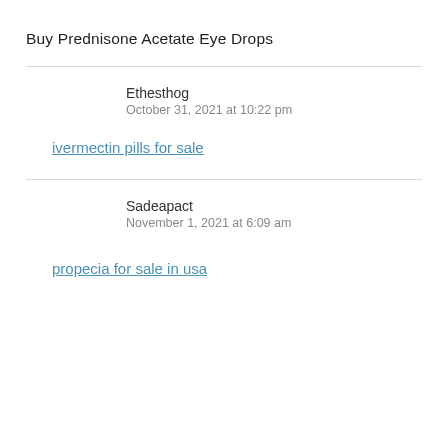Buy Prednisone Acetate Eye Drops
Ethesthog
October 31, 2021 at 10:22 pm
ivermectin pills for sale
Sadeapact
November 1, 2021 at 6:09 am
propecia for sale in usa